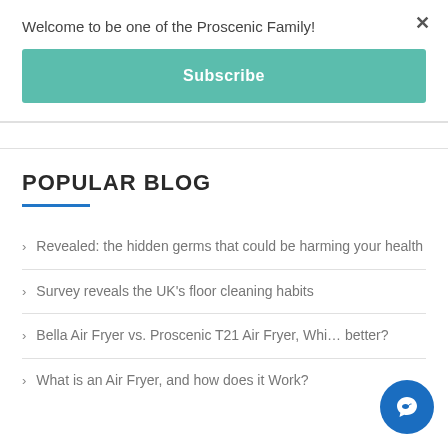Welcome to be one of the Proscenic Family!
Subscribe
POPULAR BLOG
Revealed: the hidden germs that could be harming your health
Survey reveals the UK's floor cleaning habits
Bella Air Fryer vs. Proscenic T21 Air Fryer, Which is better?
What is an Air Fryer, and how does it Work?